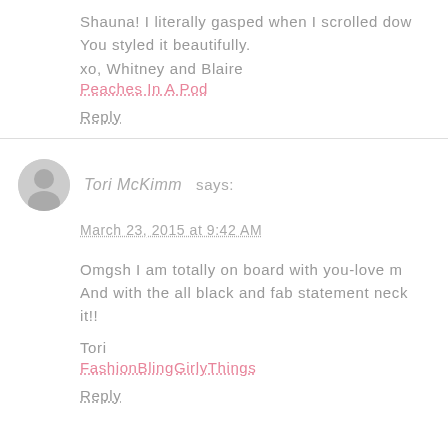Shauna! I literally gasped when I scrolled down. You styled it beautifully.
xo, Whitney and Blaire
Peaches In A Pod
Reply
Tori McKimm says:
March 23, 2015 at 9:42 AM
Omgsh I am totally on board with you-love me. And with the all black and fab statement neck it!!
Tori
FashionBlingGirlyThings
Reply